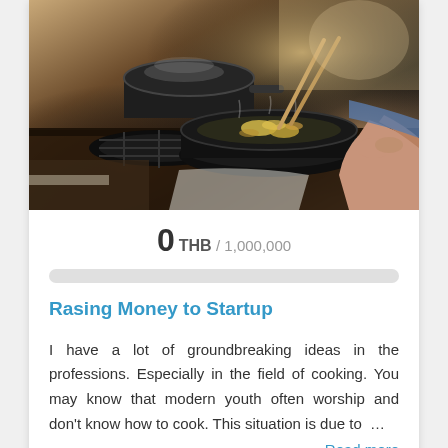[Figure (photo): Person cooking food in a frying pan on a gas stove, holding chopsticks, kitchen scene with warm lighting]
0 THB / 1,000,000
Rasing Money to Startup
I have a lot of groundbreaking ideas in the professions. Especially in the field of cooking. You may know that modern youth often worship and don't know how to cook. This situation is due to …
Read more
1   1177